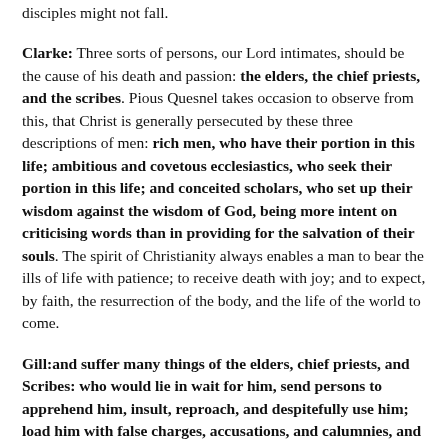disciples might not fall.
Clarke: Three sorts of persons, our Lord intimates, should be the cause of his death and passion: the elders, the chief priests, and the scribes. Pious Quesnel takes occasion to observe from this, that Christ is generally persecuted by these three descriptions of men: rich men, who have their portion in this life; ambitious and covetous ecclesiastics, who seek their portion in this life; and conceited scholars, who set up their wisdom against the wisdom of God, being more intent on criticising words than in providing for the salvation of their souls. The spirit of Christianity always enables a man to bear the ills of life with patience; to receive death with joy; and to expect, by faith, the resurrection of the body, and the life of the world to come.
Gill: and suffer many things of the elders, chief priests, and Scribes: who would lie in wait for him, send persons to apprehend him, insult, reproach, and despitefully use him; load him with false charges, accusations, and calumnies, and deliver him to the Gentiles, to be mocked, scourged, and crucified: and this is aggravated as what would be done to him, not by the common people, or the dregs of them, but by the principal men of the city, by the sanhedrim, which consisted of the “elders” of the